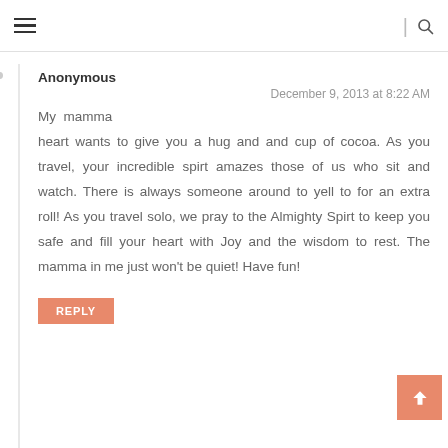Navigation header with hamburger menu and search icon
Anonymous
December 9, 2013 at 8:22 AM
My mamma heart wants to give you a hug and and cup of cocoa. As you travel, your incredible spirt amazes those of us who sit and watch. There is always someone around to yell to for an extra roll! As you travel solo, we pray to the Almighty Spirt to keep you safe and fill your heart with Joy and the wisdom to rest. The mamma in me just won't be quiet! Have fun!
REPLY